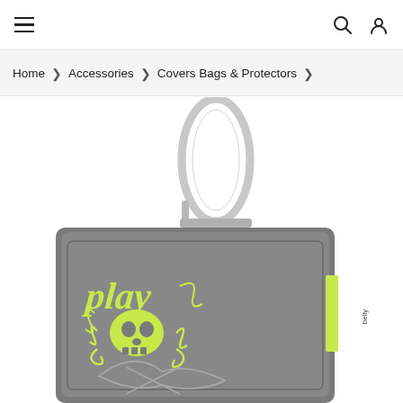≡   🔍  👤
Home > Accessories > Covers Bags & Protectors >
[Figure (photo): A dark gray phone pouch/case with a carabiner clip at the top. The case features a skull and crossbones design with 'play' text in neon yellow-green gothic lettering. A neon green label tag is visible on the right side of the case.]